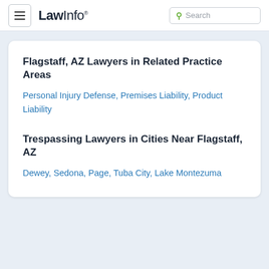LawInfo. Search
Flagstaff, AZ Lawyers in Related Practice Areas
Personal Injury Defense, Premises Liability, Product Liability
Trespassing Lawyers in Cities Near Flagstaff, AZ
Dewey, Sedona, Page, Tuba City, Lake Montezuma